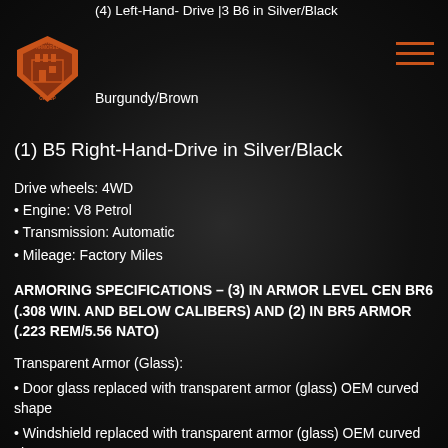(4) Left-Hand- Drive |3 B6 in Silver/Black
[Figure (logo): The Armored Group logo - orange shield with building/fort icon and text THE ARMORED GROUP]
Burgundy/Brown
(1) B5 Right-Hand-Drive in Silver/Black
Drive wheels: 4WD
• Engine: V8 Petrol
• Transmission: Automatic
• Mileage: Factory Miles
ARMORING SPECIFICATIONS – (3) IN ARMOR LEVEL CEN BR6 (.308 Win. and below calibers) AND (2) IN BR5 ARMOR (.223 REM/5.56 NATO)
Transparent Armor (Glass):
• Door glass replaced with transparent armor (glass) OEM curved shape
• Windshield replaced with transparent armor (glass) OEM curved shape
• Quarter glass and tailgate view port with transparent armor (flat glass)